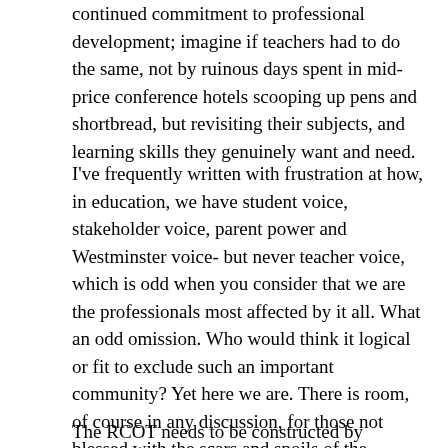continued commitment to professional development; imagine if teachers had to do the same, not by ruinous days spent in mid-price conference hotels scooping up pens and shortbread, but revisiting their subjects, and learning skills they genuinely want and need.
I've frequently written with frustration at how, in education, we have student voice, stakeholder voice, parent power and Westminster voice- but never teacher voice, which is odd when you consider that we are the professionals most affected by it all. What an odd omission. Who would think it logical or fit to exclude such an important community? Yet here we are. There is room, of course in any discussion, for those not blessed with the scars and spoils of the classroom, but for too long the room has been missing an elephant: us.
The RCOT needs to be constructed by teachers;